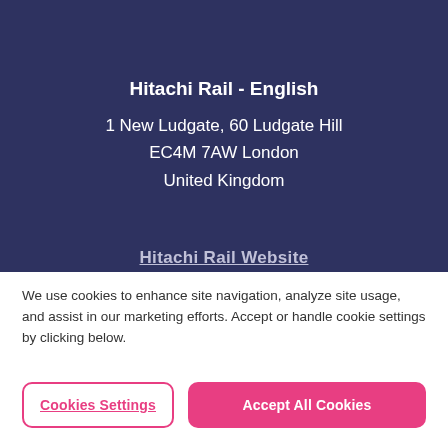Hitachi Rail - English
1 New Ludgate, 60 Ludgate Hill
EC4M 7AW London
United Kingdom
Hitachi Rail Website
We use cookies to enhance site navigation, analyze site usage, and assist in our marketing efforts. Accept or handle cookie settings by clicking below.
Cookies Settings
Accept All Cookies